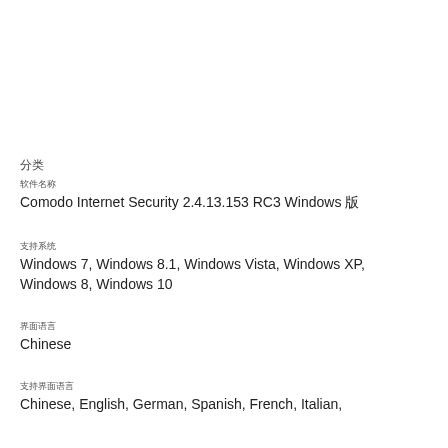分类
软件名称
Comodo Internet Security 2.4.13.153 RC3 Windows 版
支持系统
Windows 7, Windows 8.1, Windows Vista, Windows XP, Windows 8, Windows 10
界面语言
Chinese
支持界面语言
Chinese, English, German, Spanish, French, Italian,